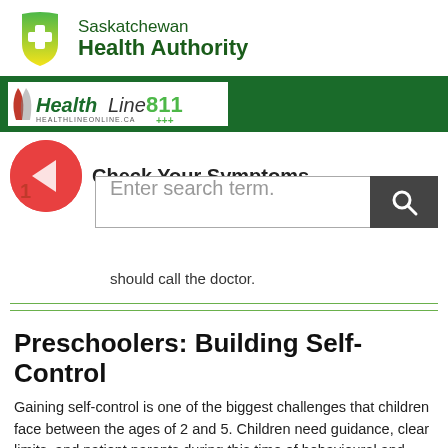[Figure (logo): Saskatchewan Health Authority logo with green shield icon and text]
[Figure (screenshot): HealthLine 811 banner with logo and healthlineonline.ca text on green background]
Check Your Symptoms
Enter search term.
should call the doctor.
Preschoolers: Building Self-Control
Gaining self-control is one of the biggest challenges that children face between the ages of 2 and 5. Children need guidance, clear limits, and patient parents during this time of behavioural and emotional struggles. They also need interaction with other children and adults to help them learn self-control and self-confidence.